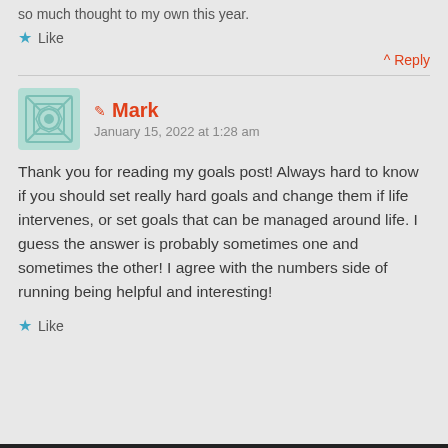so much thought to my own this year.
Like
^ Reply
Mark
January 15, 2022 at 1:28 am
Thank you for reading my goals post! Always hard to know if you should set really hard goals and change them if life intervenes, or set goals that can be managed around life. I guess the answer is probably sometimes one and sometimes the other! I agree with the numbers side of running being helpful and interesting!
Like